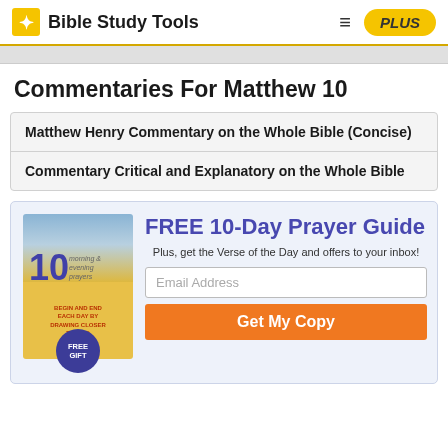Bible Study Tools
Commentaries For Matthew 10
Matthew Henry Commentary on the Whole Bible (Concise)
Commentary Critical and Explanatory on the Whole Bible
[Figure (illustration): Book cover for '10 morning & evening prayers - Begin and End Each Day by Drawing Closer to God' with FREE GIFT badge]
FREE 10-Day Prayer Guide
Plus, get the Verse of the Day and offers to your inbox!
Email Address
Get My Copy